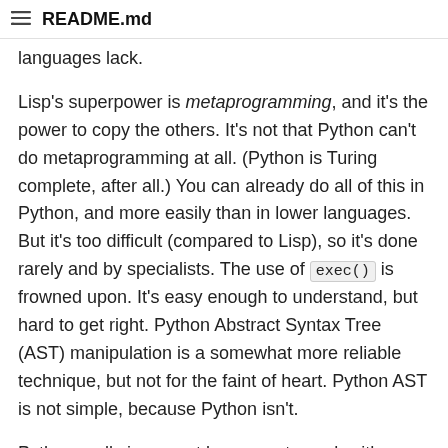README.md
languages lack.
Lisp's superpower is metaprogramming, and it's the power to copy the others. It's not that Python can't do metaprogramming at all. (Python is Turing complete, after all.) You can already do all of this in Python, and more easily than in lower languages. But it's too difficult (compared to Lisp), so it's done rarely and by specialists. The use of exec() is frowned upon. It's easy enough to understand, but hard to get right. Python Abstract Syntax Tree (AST) manipulation is a somewhat more reliable technique, but not for the faint of heart. Python AST is not simple, because Python isn't.
Python really is a great language to work with. "Executable pseudocode" is not far off. But it is too complex to be good at metaprogramming. By